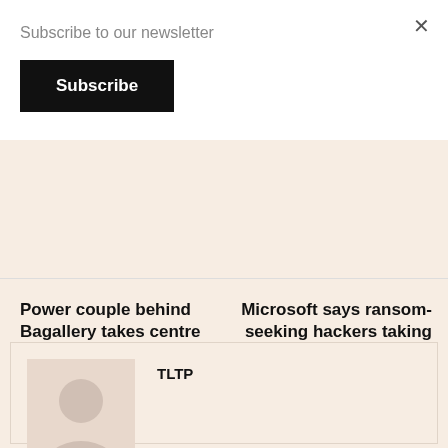Subscribe to our newsletter
Subscribe
×
Power couple behind Bagallery takes centre stage with announcement of Salman Sattar as CEO
Microsoft says ransom-seeking hackers taking advantage of server flaws
[Figure (illustration): Author avatar placeholder showing a silhouette of a person on a beige/tan background]
TLTP